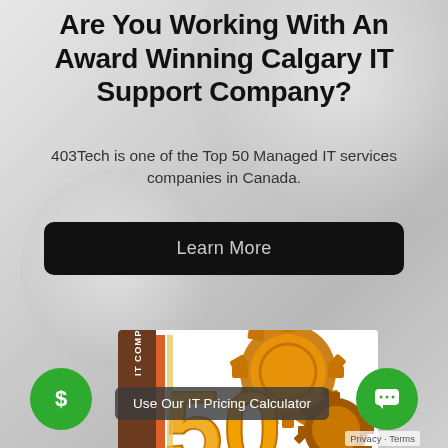Are You Working With An Award Winning Calgary IT Support Company?
403Tech is one of the Top 50 Managed IT services companies in Canada.
Learn More
[Figure (logo): Award badge showing '50' with gear/cog imagery and text 'IT COMPANIES' on a brown sidebar, gold and orange colors]
Use Our IT Pricing Calculator